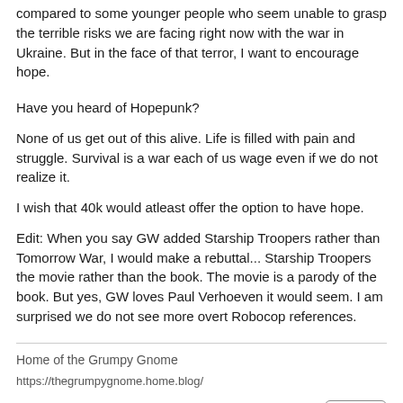compared to some younger people who seem unable to grasp the terrible risks we are facing right now with the war in Ukraine. But in the face of that terror, I want to encourage hope.
Have you heard of Hopepunk?
None of us get out of this alive. Life is filled with pain and struggle. Survival is a war each of us wage even if we do not realize it.
I wish that 40k would atleast offer the option to have hope.
Edit: When you say GW added Starship Troopers rather than Tomorrow War, I would make a rebuttal... Starship Troopers the movie rather than the book. The movie is a parody of the book. But yes, GW loves Paul Verhoeven it would seem. I am surprised we do not see more overt Robocop references.
Home of the Grumpy Gnome
https://thegrumpygnome.home.blog/
2 likes   Like